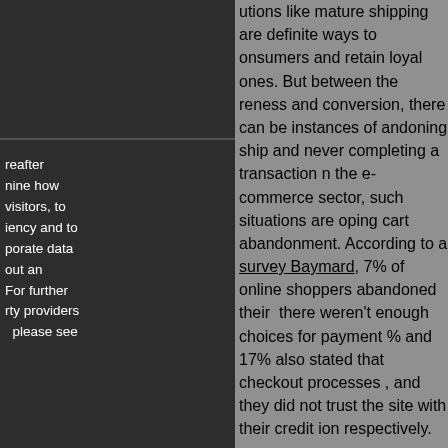utions like mature shipping are definite ways to onsumers and retain loyal ones. But between the reness and conversion, there can be instances of andoning ship and never completing a transaction n the e-commerce sector, such situations are oping cart abandonment. According to a survey Baymard, 7% of online shoppers abandoned their there weren't enough choices for payment % and 17% also stated that checkout processes , and they did not trust the site with their credit ion respectively.
reafter nine how visitors, to iency and to porate data out an For further rty providers please see
laysia's e-commerce market is estimated to reach by 2024, retailers cannot afford to miss out on the ne business opportunities due to the above-opholes. Enabling secure payment authorisation nultiple payment options, makes working with a way provider important for an online business.